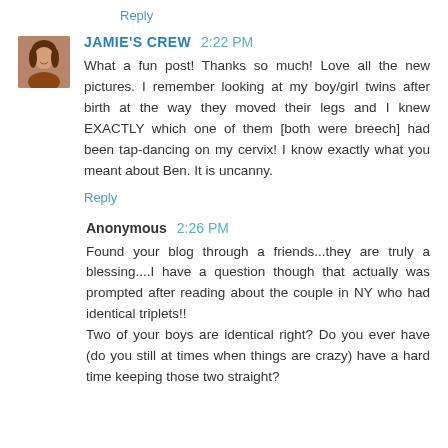Reply
JAMIE'S CREW 2:22 PM
What a fun post! Thanks so much! Love all the new pictures. I remember looking at my boy/girl twins after birth at the way they moved their legs and I knew EXACTLY which one of them [both were breech] had been tap-dancing on my cervix! I know exactly what you meant about Ben. It is uncanny.
Reply
Anonymous 2:26 PM
Found your blog through a friends...they are truly a blessing....I have a question though that actually was prompted after reading about the couple in NY who had identical triplets!! Two of your boys are identical right? Do you ever have (do you still at times when things are crazy) have a hard time keeping those two straight?